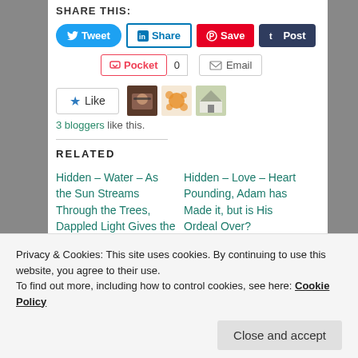SHARE THIS:
[Figure (screenshot): Social sharing buttons: Tweet (Twitter/blue), Share (LinkedIn/blue outline), Save (Pinterest/red), Post (Tumblr/dark navy)]
[Figure (screenshot): Pocket button with count 0, and Email button]
[Figure (screenshot): Like button with star, followed by 3 blogger avatar thumbnails]
3 bloggers like this.
RELATED
Hidden – Water – As the Sun Streams Through the Trees, Dappled Light Gives the
Hidden – Love – Heart Pounding, Adam has Made it, but is His Ordeal Over?
Privacy & Cookies: This site uses cookies. By continuing to use this website, you agree to their use.
To find out more, including how to control cookies, see here: Cookie Policy